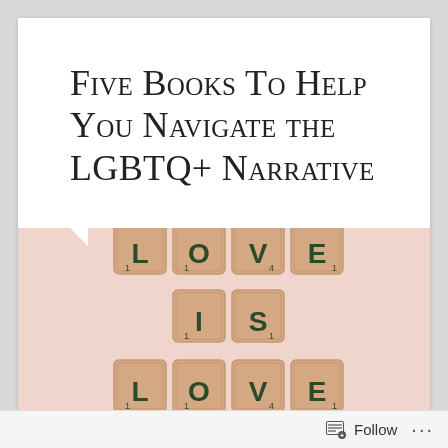Five Books To Help You Navigate the LGBTQ+ Narrative
[Figure (photo): Scrabble tiles spelling 'LOVE IS LOVE' arranged on a light pink/peach background. Top row spells LOVE, middle row spells IS, bottom row spells LOVE (partially visible).]
Follow ...